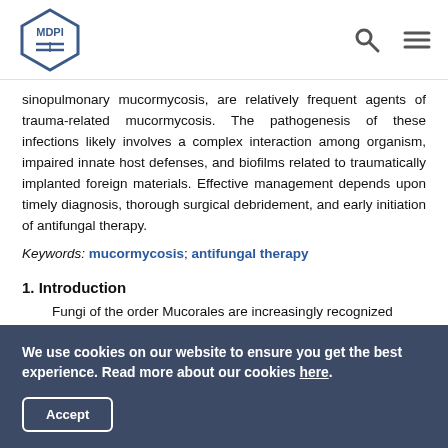MDPI
sinopulmonary mucormycosis, are relatively frequent agents of trauma-related mucormycosis. The pathogenesis of these infections likely involves a complex interaction among organism, impaired innate host defenses, and biofilms related to traumatically implanted foreign materials. Effective management depends upon timely diagnosis, thorough surgical debridement, and early initiation of antifungal therapy.
Keywords: mucormycosis; antifungal therapy
1. Introduction
Fungi of the order Mucorales are increasingly recognized
We use cookies on our website to ensure you get the best experience. Read more about our cookies here. Accept